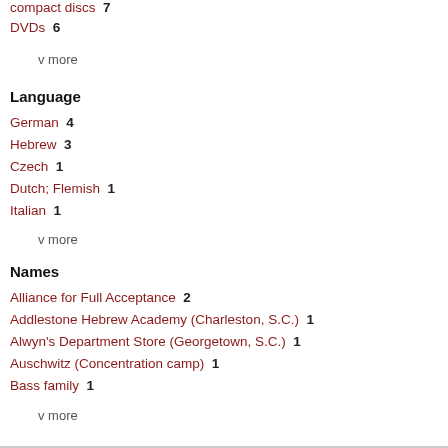compact discs  7
DVDs  6
v more
Language
German  4
Hebrew  3
Czech  1
Dutch; Flemish  1
Italian  1
v more
Names
Alliance for Full Acceptance  2
Addlestone Hebrew Academy (Charleston, S.C.)  1
Alwyn's Department Store (Georgetown, S.C.)  1
Auschwitz (Concentration camp)  1
Bass family  1
v more